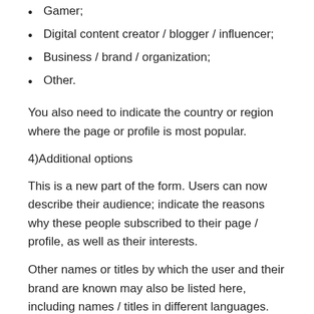Gamer;
Digital content creator / blogger / influencer;
Business / brand / organization;
Other.
You also need to indicate the country or region where the page or profile is most popular.
4)Additional options
This is a new part of the form. Users can now describe their audience; indicate the reasons why these people subscribed to their page / profile, as well as their interests.
Other names or titles by which the user and their brand are known may also be listed here, including names / titles in different languages.